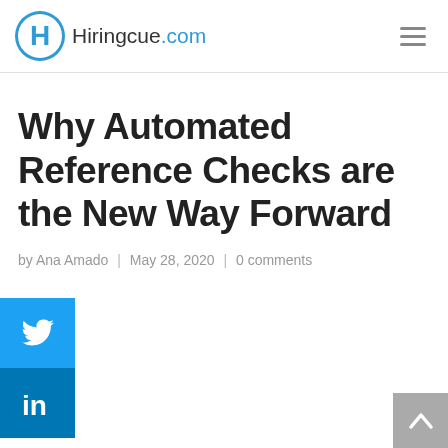Hiringcue.com
Why Automated Reference Checks are the New Way Forward
by Ana Amado | May 28, 2020 | 0 comments